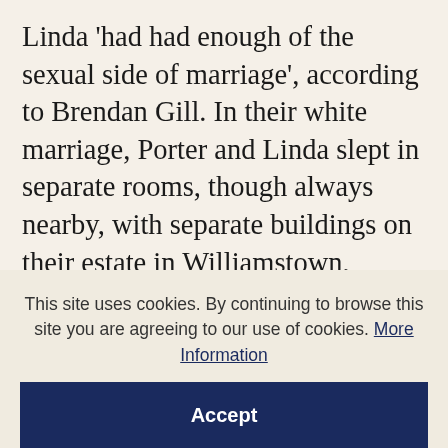Linda 'had had enough of the sexual side of marriage', according to Brendan Gill. In their white marriage, Porter and Linda slept in separate rooms, though always nearby, with separate buildings on their estate in Williamstown, Massachusetts, and separate apartments on the 41st floor of the Waldorf Towers when they made it their residence from 1934 on. 'Very few people amuse her,' Porter wrote in 1925 to his lover Boris Kochno, who had succeeded in charming Linda. 'I don't know how to tell you how grateful I am – you
This site uses cookies. By continuing to browse this site you are agreeing to our use of cookies. More Information
Accept